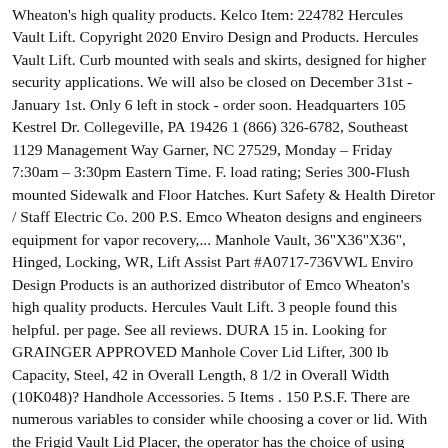Wheaton's high quality products. Kelco Item: 224782 Hercules Vault Lift. Copyright 2020 Enviro Design and Products. Hercules Vault Lift. Curb mounted with seals and skirts, designed for higher security applications. We will also be closed on December 31st - January 1st. Only 6 left in stock - order soon. Headquarters 105 Kestrel Dr. Collegeville, PA 19426 1 (866) 326-6782, Southeast 1129 Management Way Garner, NC 27529, Monday – Friday 7:30am – 3:30pm Eastern Time. F. load rating; Series 300-Flush mounted Sidewalk and Floor Hatches. Kurt Safety & Health Diretor / Staff Electric Co. 200 P.S. Emco Wheaton designs and engineers equipment for vapor recovery,... Manhole Vault, 36"X36"X36", Hinged, Locking, WR, Lift Assist Part #A0717-736VWL Enviro Design Products is an authorized distributor of Emco Wheaton's high quality products. Hercules Vault Lift. 3 people found this helpful. per page. See all reviews. DURA 15 in. Looking for GRAINGER APPROVED Manhole Cover Lid Lifter, 300 lb Capacity, Steel, 42 in Overall Length, 8 1/2 in Overall Width (10K048)? Handhole Accessories. 5 Items . 150 P.S.F. There are numerous variables to consider while choosing a cover or lid. With the Frigid Vault Lid Placer, the operator has the choice of using either the long handle or the crank handle to lift concrete lids. x 21 in. Cremation Containers; Shipping Containers; Crematory Equipment; Urns The Emco Wheaton A0717 square manhole provides ease of access to a variety of tank hardwall